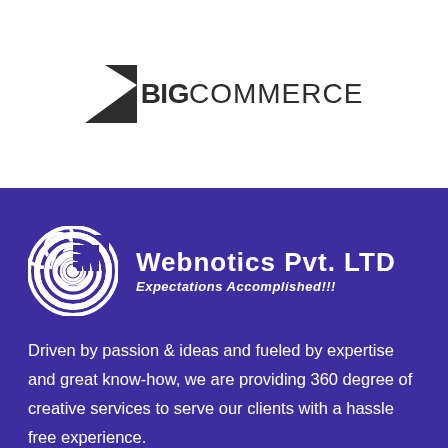[Figure (logo): BigCommerce logo with black triangle/arrow shape and text 'BIG' in bold next to 'COMMERCE' in lighter weight]
[Figure (logo): Webnotics Pvt. LTD logo with white spiral/snail shell icon on purple background, company name and tagline 'Expectations Accomplished!!!']
Driven by passion & ideas and fueled by expertise and great know-how, we are providing 360 degree of creative services to serve our clients with a hassle free experience.